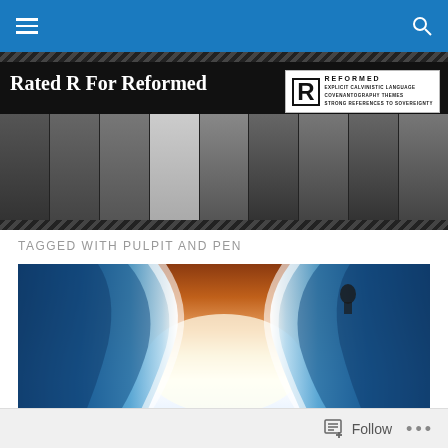Navigation bar with menu and search icons
[Figure (screenshot): Website banner for 'Rated R For Reformed' blog showing the title text and a row of historical Reformed theologian portraits in black and white, with an R rating logo in the top right corner]
TAGGED WITH PULPIT AND PEN
[Figure (photo): Dramatic image showing parted waters or waves, with blue water walls on the left and right, a bright glowing sky in the background, and a small figure visible at the top right among the waves]
Follow ...